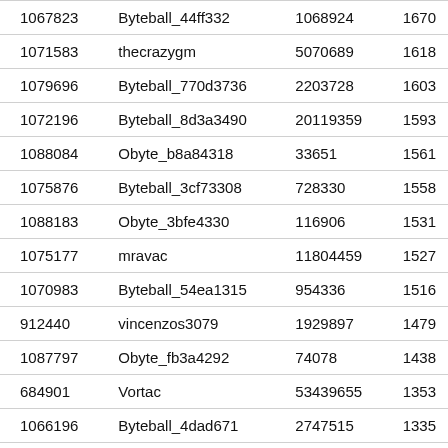| 1067823 | Byteball_44ff332 | 1068924 | 1670… |
| 1071583 | thecrazygm | 5070689 | 1618… |
| 1079696 | Byteball_770d3736 | 2203728 | 1603… |
| 1072196 | Byteball_8d3a3490 | 20119359 | 1593… |
| 1088084 | Obyte_b8a84318 | 33651 | 1561… |
| 1075876 | Byteball_3cf73308 | 728330 | 1558… |
| 1088183 | Obyte_3bfe4330 | 116906 | 1531… |
| 1075177 | mravac | 11804459 | 1527… |
| 1070983 | Byteball_54ea1315 | 954336 | 1516… |
| 912440 | vincenzos3079 | 1929897 | 1479… |
| 1087797 | Obyte_fb3a4292 | 74078 | 1438… |
| 684901 | Vortac | 53439655 | 1353… |
| 1066196 | Byteball_4dad671 | 2747515 | 1335… |
| 733080 | mogura3 | 5785642 | 1303… |
| 1000396 | Byteball_c0c2225 | 97702412 | 1248… |
| 877517 | stopcancer | 49017643 | 1209… |